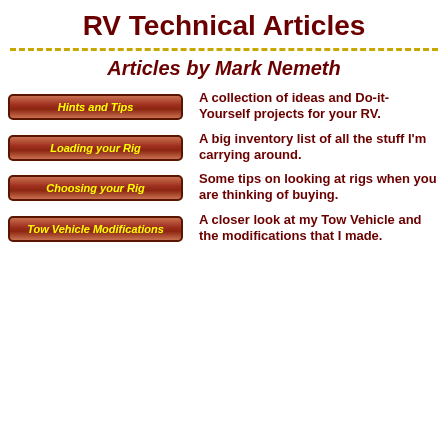RV Technical Articles
Articles by Mark Nemeth
Hints and Tips — A collection of ideas and Do-it-Yourself projects for your RV.
Loading your Rig — A big inventory list of all the stuff I'm carrying around.
Choosing your Rig — Some tips on looking at rigs when you are thinking of buying.
Tow Vehicle Modifications — A closer look at my Tow Vehicle and the modifications that I made.